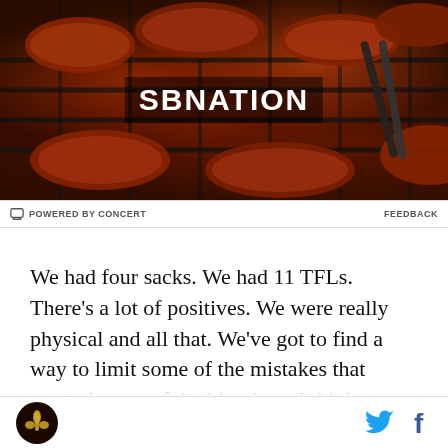[Figure (photo): SBNation advertisement banner showing grilled BBQ ribs on a grill with the SBNATION logo overlaid in white text]
POWERED BY CONCERT   FEEDBACK
We had four sacks. We had 11 TFLs. There's a lot of positives. We were really physical and all that. We've got to find a way to limit some of the mistakes that created some of the big plays. I think we can certainly take things from the game.
The thing I've learned in coaching is that you want to take all the positives, you want to work on all your
SBNation logo, Twitter icon, Facebook icon